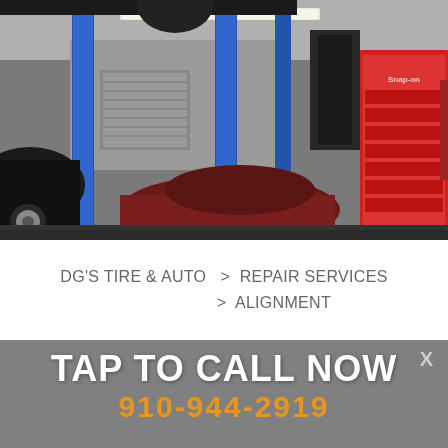[Figure (photo): Interior of an auto repair shop showing cars on lifts, blue hydraulic lift columns, a red Snap-on tool chest/cabinet on the right, and shop equipment overhead.]
DG'S TIRE & AUTO  >  REPAIR SERVICES  >  ALIGNMENT
[Figure (infographic): Gray overlay banner with tap-to-call prompt. Shows 'TAP TO CALL NOW' in large white bold text and '910-944-2919' in large orange bold text. An X close button is in the upper right.]
Correctly aligned tires reduce wear and ensure that your vehicle travels straight and true (without "pulling" to one side). Your tires should be aligned as part of routine maintenance, but if you notice uneven tire wear or your car is pulling to one side, you should have a qualified automotive technician examine your car. You can trust the technicians at